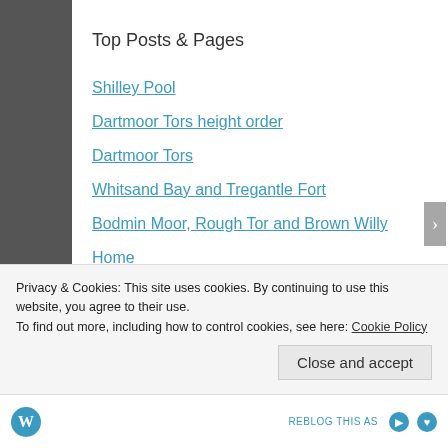Top Posts & Pages
Shilley Pool
Dartmoor Tors height order
Dartmoor Tors
Whitsand Bay and Tregantle Fort
Bodmin Moor, Rough Tor and Brown Willy
Home
Bodmin Moor
Brentmoor House
Black Crag from Tarn Hows
Privacy & Cookies: This site uses cookies. By continuing to use this website, you agree to their use.
To find out more, including how to control cookies, see here: Cookie Policy
Close and accept